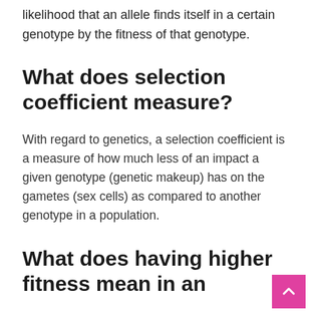likelihood that an allele finds itself in a certain genotype by the fitness of that genotype.
What does selection coefficient measure?
With regard to genetics, a selection coefficient is a measure of how much less of an impact a given genotype (genetic makeup) has on the gametes (sex cells) as compared to another genotype in a population.
What does having higher fitness mean in an